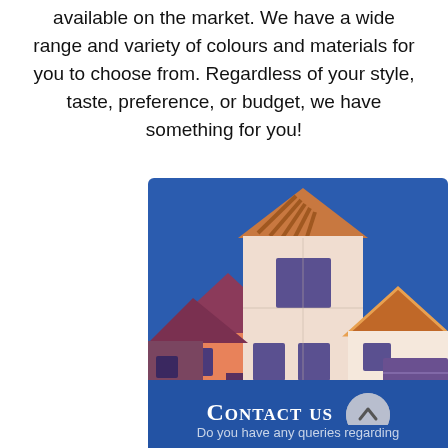available on the market. We have a wide range and variety of colours and materials for you to choose from. Regardless of your style, taste, preference, or budget, we have something for you!
[Figure (illustration): Cartoon illustration of residential houses with colourful roofs (orange, maroon, striped) on a blue background, showing multiple house facades with windows and a garage door.]
Contact us
Do you have any queries regarding